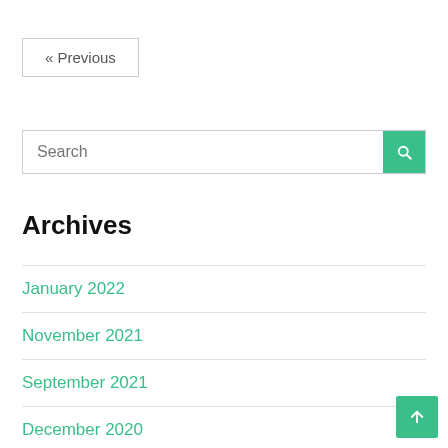« Previous
Search
Archives
January 2022
November 2021
September 2021
December 2020
November 2020
October 2020